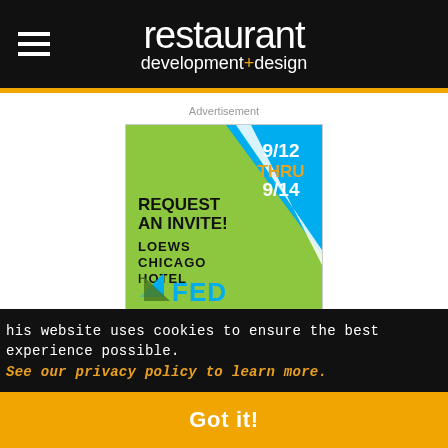restaurant development+design
Advertisement
[Figure (other): FED conference advertisement: REQUEST AN INVITE! 9/12 THRU 9/14, LOEWS CHICAGO HOTEL, FED logo]
Most Popular Articles
This website uses cookies to ensure the best experience possible. See our privacy policy to learn more.
Got it!